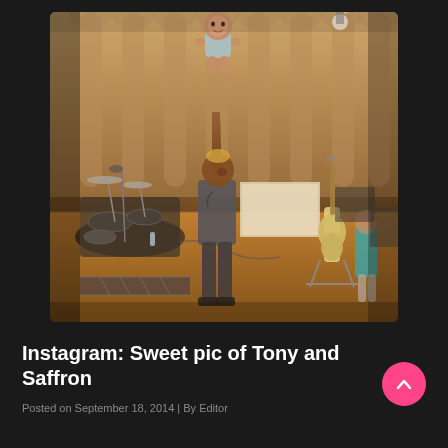[Figure (photo): A man holding a baby up in the air with both arms raised, inside what appears to be a concert hall or rehearsal space with drum kit, guitars on stands, and a person in the background. The man has highlighted hair and tattoos, wearing a dark t-shirt. The baby is dressed in a light blue outfit. Warm sepia/orange tones throughout.]
Instagram: Sweet pic of Tony and Saffron
Posted on September 18, 2014 | By Editor